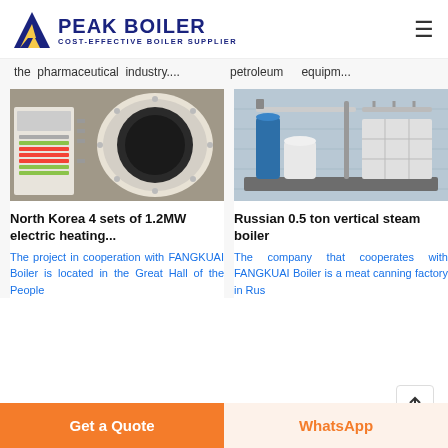PEAK BOILER — COST-EFFECTIVE BOILER SUPPLIER
the pharmaceutical industry....
petroleum  equipm...
[Figure (photo): Industrial electric boiler equipment with control panel in a factory setting]
[Figure (photo): Russian 0.5 ton vertical steam boiler system with blue tanks and water treatment array]
North Korea 4 sets of 1.2MW electric heating...
Russian 0.5 ton vertical steam boiler
The project in cooperation with FANGKUAI Boiler is located in the Great Hall of the People
The company that cooperates with FANGKUAI Boiler is a meat canning factory in Rus
Get a Quote
WhatsApp